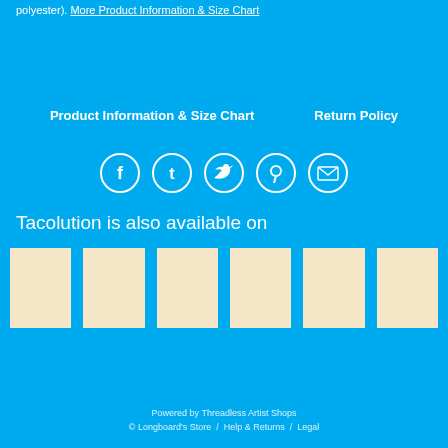polyester). More Product Information & Size Chart
Product Information & Size Chart   Return Policy
[Figure (infographic): Five social media share icons in circles: Facebook, Tumblr, Twitter, Pinterest, Email — white icons on blue/transparent circle outlines]
Tacolution is also available on
[Figure (infographic): Six rectangular placeholder boxes (beige/cream color) representing store/platform logos in a row]
Powered by Threadless Artist Shops
© Longboard's Store  /  Help & Returns  /  Legal